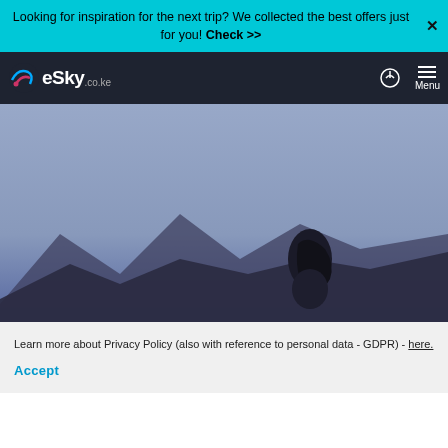Looking for inspiration for the next trip? We collected the best offers just for you! Check >>
[Figure (logo): eSky.co.ke logo on dark navy navigation bar with login icon and hamburger menu]
[Figure (photo): Hero image of a person with long dark hair sitting on a hilltop against a hazy blue-grey sky with mountain silhouettes]
Learn more about Privacy Policy (also with reference to personal data - GDPR) - here.
Accept